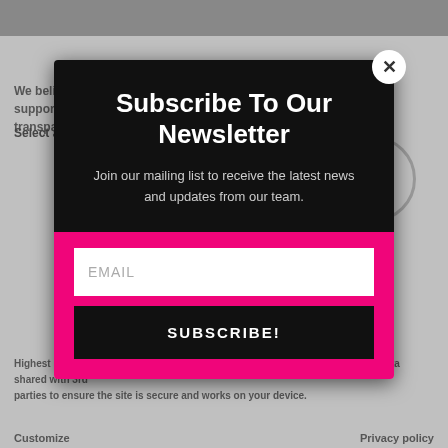yeeeaahnetwork.com
We believe your data is your property and support your right to privacy and transparency.
Select a Data Access Level and Duration to choose how we
Subscribe To Our Newsletter
Join our mailing list to receive the latest news and updates from our team.
EMAIL
SUBSCRIBE!
Highest level of privacy. Data accessed for necessary basic operations only. Data shared with 3rd parties to ensure the site is secure and works on your device.
Customize
Privacy policy